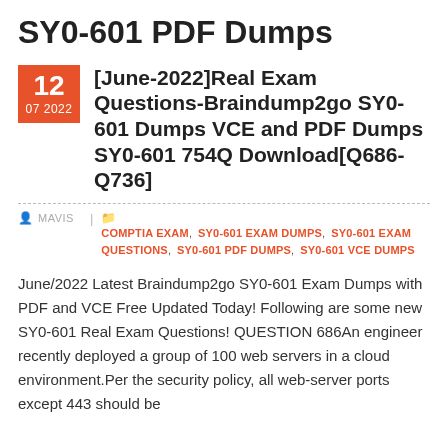SY0-601 PDF Dumps
[June-2022]Real Exam Questions-Braindump2go SY0-601 Dumps VCE and PDF Dumps SY0-601 754Q Download[Q686-Q736]
MAVIS | COMPTIA EXAM, SY0-601 EXAM DUMPS, SY0-601 EXAM QUESTIONS, SY0-601 PDF DUMPS, SY0-601 VCE DUMPS
June/2022 Latest Braindump2go SY0-601 Exam Dumps with PDF and VCE Free Updated Today! Following are some new SY0-601 Real Exam Questions! QUESTION 686An engineer recently deployed a group of 100 web servers in a cloud environment.Per the security policy, all web-server ports except 443 should be